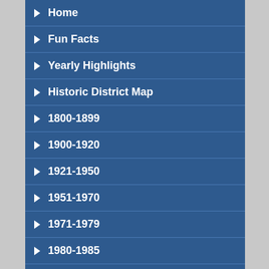Home
Fun Facts
Yearly Highlights
Historic District Map
1800-1899
1900-1920
1921-1950
1951-1970
1971-1979
1980-1985
1986-1990
1991-1995 (partial, cut off)